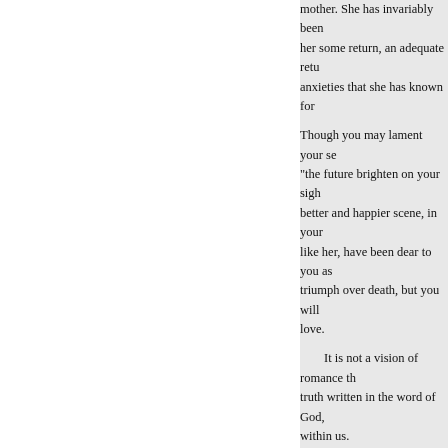mother. She has invariably been her some return, an adequate retu anxieties that she has known for
Though you may lament your se “the future brighten on your sigh better and happier scene, in your like her, have been dear to you as triumph over death, but you will love.
It is not a vision of romance th truth written in the word of God, within us.
That will indeed be “ a land of pu
burden, and amidst the trembling
“ Welcome sweet hour of fu That sets my longing soul a Unbinds my chain, breaks u
And gives me with my God to believe me to be, ever yours,